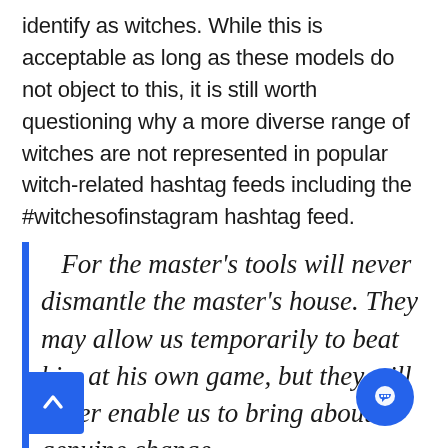identify as witches. While this is acceptable as long as these models do not object to this, it is still worth questioning why a more diverse range of witches are not represented in popular witch-related hashtag feeds including the #witchesofinstagram hashtag feed.
For the master's tools will never dismantle the master's house. They may allow us temporarily to beat him at his own game, but they will never enable us to bring about genuine change.